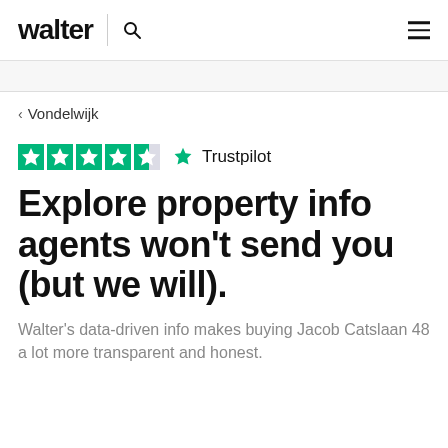walter
< Vondelwijk
[Figure (logo): Trustpilot rating logo with 4.5 green stars and Trustpilot branding]
Explore property info agents won't send you (but we will).
Walter's data-driven info makes buying Jacob Catslaan 48 a lot more transparent and honest.